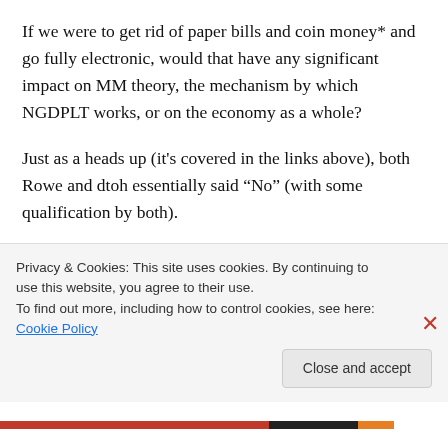If we were to get rid of paper bills and coin money* and go fully electronic, would that have any significant impact on MM theory, the mechanism by which NGDPLT works, or on the economy as a whole?
Just as a heads up (it's covered in the links above), both Rowe and dtoh essentially said “No” (with some qualification by both).
*I spell out “paper bills and coins” to be
Privacy & Cookies: This site uses cookies. By continuing to use this website, you agree to their use.
To find out more, including how to control cookies, see here: Cookie Policy